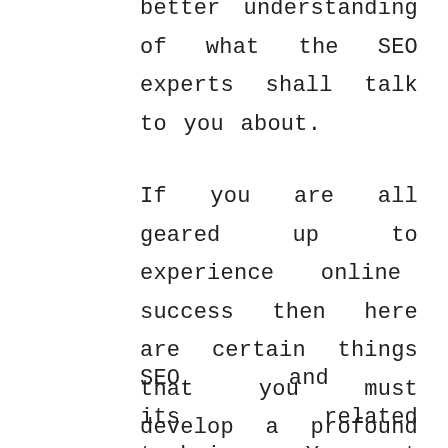better understanding of what the SEO experts shall talk to you about.
If you are all geared up to experience online success then here are certain things that you must develop a profound understanding of:
SEO and its related techniques. You must develop